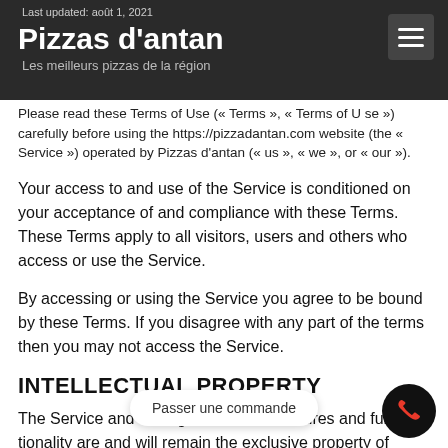Last updated: août 1, 2021 | Pizzas d'antan | Les meilleurs pizzas de la région
Please read these Terms of Use (« Terms », « Terms of Use ») carefully before using the https://pizzadantan.com website (the « Service ») operated by Pizzas d'antan (« us », « we », or « our »).
Your access to and use of the Service is conditioned on your acceptance of and compliance with these Terms. These Terms apply to all visitors, users and others who access or use the Service.
By accessing or using the Service you agree to be bound by these Terms. If you disagree with any part of the terms then you may not access the Service.
INTELLECTUAL PROPERTY
The Service and its original content, features and functionality are and will remain the exclusive property of Pizzas d'antan and its licensors.